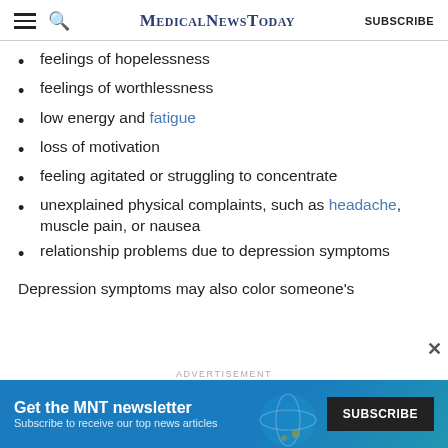MedicalNewsToday | SUBSCRIBE
feelings of hopelessness
feelings of worthlessness
low energy and fatigue
loss of motivation
feeling agitated or struggling to concentrate
unexplained physical complaints, such as headache, muscle pain, or nausea
relationship problems due to depression symptoms
Depression symptoms may also color someone's
[Figure (screenshot): Advertisement banner: Get the MNT newsletter. Subscribe to receive our top news articles. SUBSCRIBE button.]